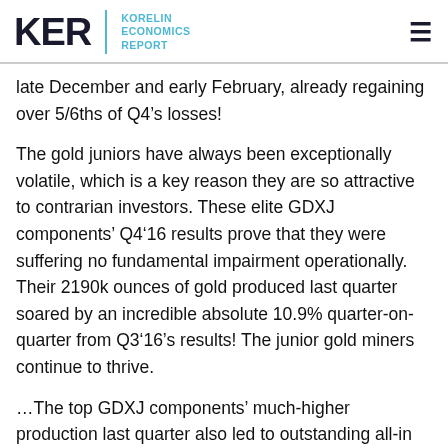KER | KORELIN ECONOMICS REPORT
late December and early February, already regaining over 5/6ths of Q4’s losses!
The gold juniors have always been exceptionally volatile, which is a key reason they are so attractive to contrarian investors. These elite GDXJ components’ Q4’16 results prove that they were suffering no fundamental impairment operationally. Their 2190k ounces of gold produced last quarter soared by an incredible absolute 10.9% quarter-on-quarter from Q3’16’s results! The junior gold miners continue to thrive.
…The top GDXJ components’ much-higher production last quarter also led to outstanding all-in sustaining costs. They averaged just $855 per ounce among the gold miners reporting as of the middle of this month! That’s a mere 6.8% absolute